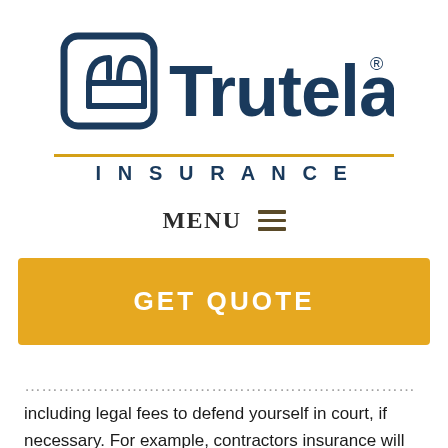[Figure (logo): Trutela Insurance logo with icon and gold underline bar]
MENU ≡
[Figure (other): GET QUOTE yellow button]
including legal fees to defend yourself in court, if necessary. For example, contractors insurance will kick in if: